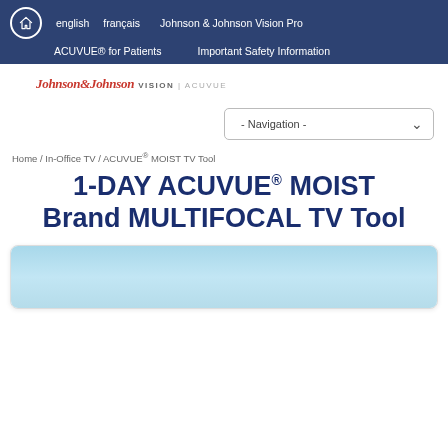english  français  Johnson & Johnson Vision Pro  ACUVUE® for Patients  Important Safety Information
[Figure (logo): Johnson & Johnson Vision / ACUVUE logo in red italic script with 'VISION | ACUVUE' text]
[Figure (screenshot): Navigation dropdown selector reading '- Navigation -']
Home / In-Office TV / ACUVUE® MOIST TV Tool
1-DAY ACUVUE® MOIST Brand MULTIFOCAL TV Tool
[Figure (screenshot): Partial view of a video thumbnail with light blue background]